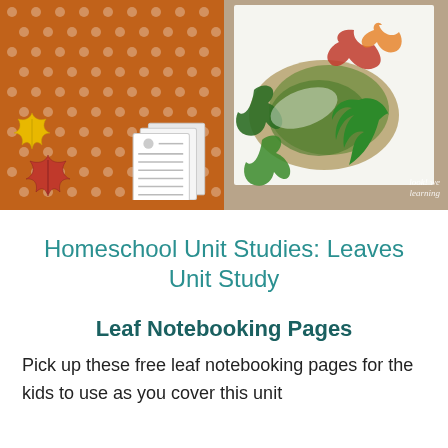[Figure (photo): Left side: Autumn Leaves Printable Notebooking Pages book cover on orange polka-dot background with yellow and red leaf illustrations. Right side: photo of green leaf prints on white paper with actual green leaves beside them, watermark 'look! we learning' in bottom right.]
Homeschool Unit Studies: Leaves Unit Study
Leaf Notebooking Pages
Pick up these free leaf notebooking pages for the kids to use as you cover this unit